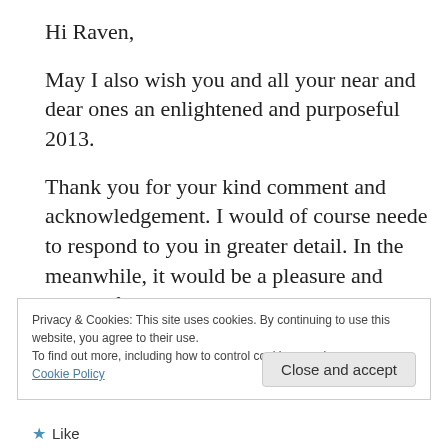Hi Raven,
May I also wish you and all your near and dear ones an enlightened and purposeful 2013.
Thank you for your kind comment and acknowledgement. I would of course neede to respond to you in greater detail. In the meanwhile, it would be a pleasure and honour for you to re-blog my post.
Privacy & Cookies: This site uses cookies. By continuing to use this website, you agree to their use.
To find out more, including how to control cookies, see here: Cookie Policy
Close and accept
Like